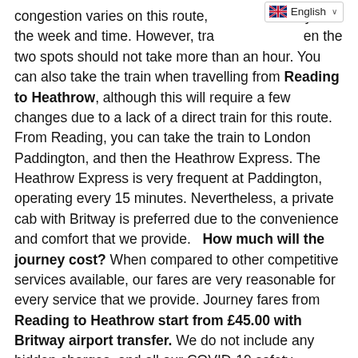congestion varies on this route, day of the week and time. However, travel time between the two spots should not take more than an hour. You can also take the train when travelling from Reading to Heathrow, although this will require a few changes due to a lack of a direct train for this route. From Reading, you can take the train to London Paddington, and then the Heathrow Express. The Heathrow Express is very frequent at Paddington, operating every 15 minutes. Nevertheless, a private cab with Britway is preferred due to the convenience and comfort that we provide.   How much will the journey cost? When compared to other competitive services available, our fares are very reasonable for every service that we provide. Journey fares from Reading to Heathrow start from £45.00 with Britway airport transfer. We do not include any hidden charges, and all our COVID-19 safety measures are included at no extra cost to you. We also offer a range of discounts and other offers throughout the year. A little about Heathrow  Heathrow Airport, previously